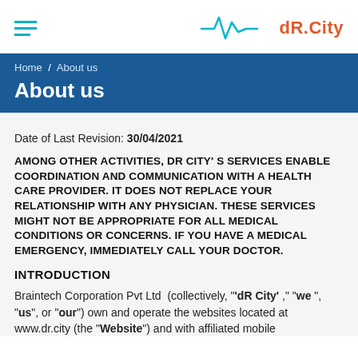[Figure (logo): dR.City logo with ECG/heartbeat waveline in teal and 'dR.City' text in orange-red, with hamburger menu icon on left]
Home / About us
About us
Date of Last Revision: 30/04/2021
AMONG OTHER ACTIVITIES, DR CITY' S SERVICES ENABLE COORDINATION AND COMMUNICATION WITH A HEALTH CARE PROVIDER. IT DOES NOT REPLACE YOUR RELATIONSHIP WITH ANY PHYSICIAN. THESE SERVICES MIGHT NOT BE APPROPRIATE FOR ALL MEDICAL CONDITIONS OR CONCERNS. IF YOU HAVE A MEDICAL EMERGENCY, IMMEDIATELY CALL YOUR DOCTOR.
INTRODUCTION
Braintech Corporation Pvt Ltd  (collectively, "’dR City’ ," “we ”, “us”, or “our”) own and operate the websites located at www.dr.city (the “Website”) and with affiliated mobile